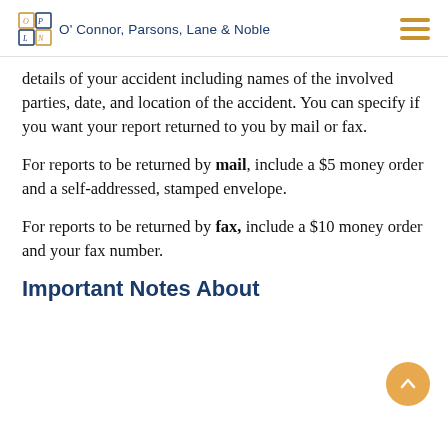O'Connor, Parsons, Lane & Noble
details of your accident including names of the involved parties, date, and location of the accident. You can specify if you want your report returned to you by mail or fax.
For reports to be returned by mail, include a $5 money order and a self-addressed, stamped envelope.
For reports to be returned by fax, include a $10 money order and your fax number.
Important Notes About